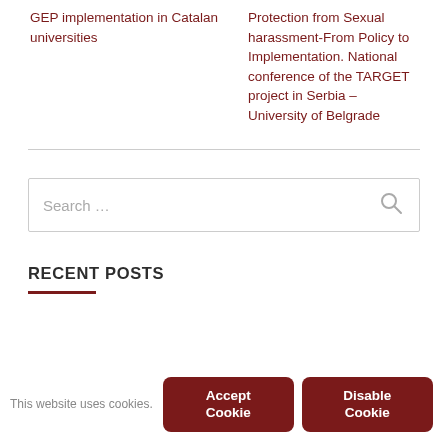GEP implementation in Catalan universities
Protection from Sexual harassment-From Policy to Implementation. National conference of the TARGET project in Serbia – University of Belgrade
Search …
RECENT POSTS
This website uses cookies.